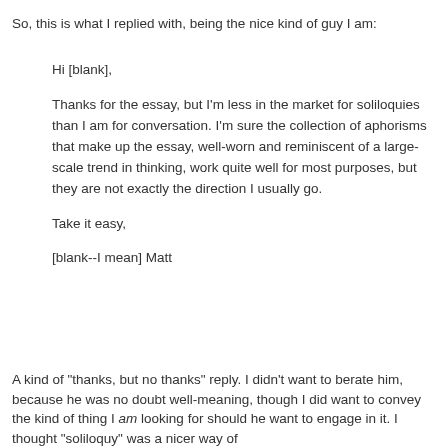So, this is what I replied with, being the nice kind of guy I am:
Hi [blank],

Thanks for the essay, but I'm less in the market for soliloquies than I am for conversation. I'm sure the collection of aphorisms that make up the essay, well-worn and reminiscent of a large-scale trend in thinking, work quite well for most purposes, but they are not exactly the direction I usually go.

Take it easy,

[blank--I mean] Matt
A kind of "thanks, but no thanks" reply. I didn't want to berate him, because he was no doubt well-meaning, though I did want to convey the kind of thing I am looking for should he want to engage in it. I thought "soliloquy" was a nicer way of